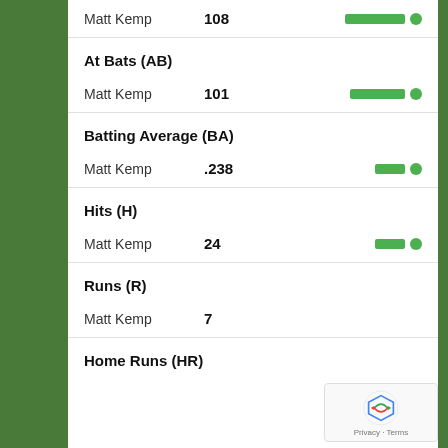Matt Kemp   108
At Bats (AB)
Matt Kemp   101
Batting Average (BA)
Matt Kemp   .238
Hits (H)
Matt Kemp   24
Runs (R)
Matt Kemp   7
Home Runs (HR)